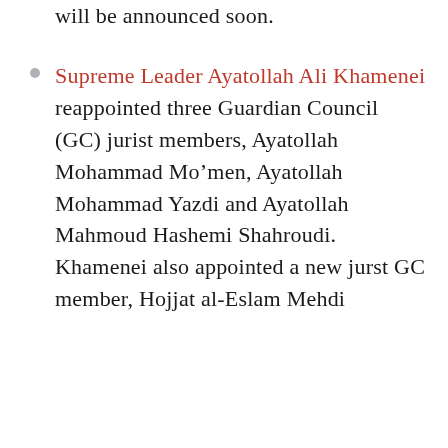will be announced soon.
Supreme Leader Ayatollah Ali Khamenei reappointed three Guardian Council (GC) jurist members, Ayatollah Mohammad Mo’men, Ayatollah Mohammad Yazdi and Ayatollah Mahmoud Hashemi Shahroudi. Khamenei also appointed a new jurst GC member, Hojjat al-Eslam Mehdi